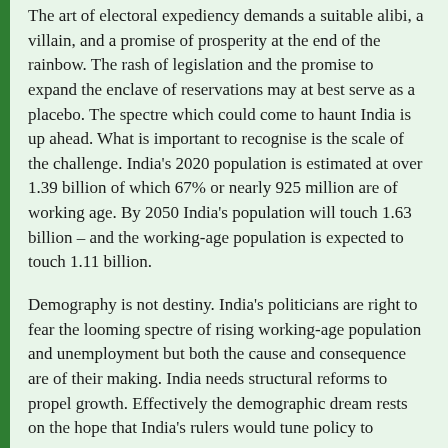The art of electoral expediency demands a suitable alibi, a villain, and a promise of prosperity at the end of the rainbow. The rash of legislation and the promise to expand the enclave of reservations may at best serve as a placebo. The spectre which could come to haunt India is up ahead. What is important to recognise is the scale of the challenge. India's 2020 population is estimated at over 1.39 billion of which 67% or nearly 925 million are of working age. By 2050 India's population will touch 1.63 billion – and the working-age population is expected to touch 1.11 billion.
Demography is not destiny. India's politicians are right to fear the looming spectre of rising working-age population and unemployment but both the cause and consequence are of their making. India needs structural reforms to propel growth. Effectively the demographic dream rests on the hope that India's rulers would tune policy to